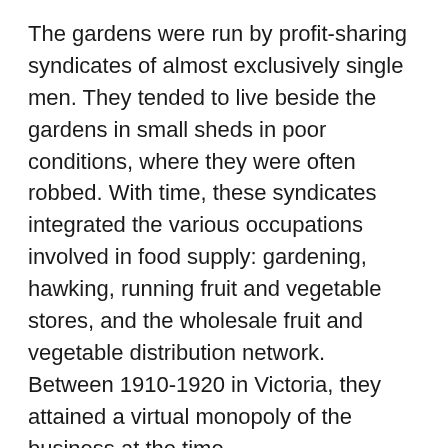The gardens were run by profit-sharing syndicates of almost exclusively single men. They tended to live beside the gardens in small sheds in poor conditions, where they were often robbed. With time, these syndicates integrated the various occupations involved in food supply: gardening, hawking, running fruit and vegetable stores, and the wholesale fruit and vegetable distribution network.  Between 1910-1920 in Victoria, they attained a virtual monopoly of the business at the time.
But they worked hard. The Chinese market garden was highly labour intensive.  The soil was prepared, straight furrows were dug, seedlings were transplanted from their own seeds, they were watered by bucket over the shoulders two rows at a time, hoed, harvested, and prepared for sale. They were manured with fermented